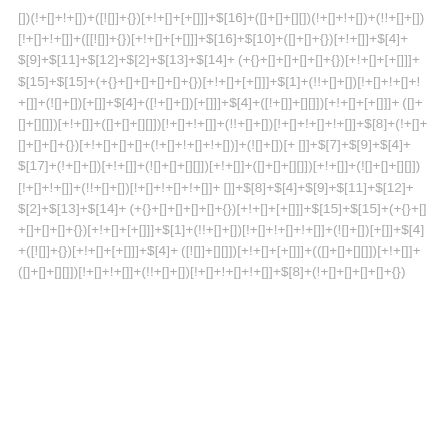[])(!+[]+!+[])+([![]]+{})[+!+[]+[+[]]]+$[16]+([]+[]+[][])(!+[]+!+[])+(!!+[]+[])[!+[]+!+[]]+([![]]+{})[+!+[]+[+[]]]+$[16]+$[10]+([]+[]+{})[+!+[]]+$[4]+$[9]+$[11]+$[12]+$[2]+$[13]+$[14]+(+{}+[]+[]+[]+[]+{})[+!+[]+[+[]]]+ $[15]+$[15]+(+{}+[]+[]+[]+[]+{})[+!+[]+[+[]]]+$[1]+(!!+[]+[])[!+[]+!+[]+!+[]]+(![]+[])[+[]]+ $[4]+([!+[]+[])[+[]]]+$[4]+([![]]+[][]])[+!+[]+[+[]]]+(([]+[]+[][]])[+!+[]+([]+[]+[][]])[!+[]+!+[]]+(!!+[]+[])[!+[]+!+[]+!+[]]+$[8]+(!+[]+[]+[]+[]+{})[+!+[]+[]+[]+(!+[]+!+[]+!+[])]+(![]+[])[+[]]+$[7]+$[9]+$[4]+$[17]+(!+[]+[])[+!+[]]+(![]+[]+[][]])[+!+[]+([]+[]+[][]])[+!+[]]+(![]+[]+[][]])[!+[]+!+[]]+(!!+[]+[])[!+[]+!+[]+!+[]]+$[8]+$[4]+$[9]+$[11]+$[12]+$[2]+$[13]+$[14]+(+{}+[]+[]+[]+[]+{})[+!+[]+[+[]]]+$[15]+$[15]+(+{}+[]+[]+[]+[]+{})[+!+[]+[+[]]]+$[1]+(!!+[]+[])[!+[]+!+[]+!+[]]+(![]+[])[+[]]+$[4]+([!+[]+[])[+[]]]+$[4]+([![]]+[][]])[+!+[]+[+[]]]+(([]+[]+[][]])[+!+[]+([]+[]+[][]])[!+[]+!+[]]+(!!+[]+[])[!+[]+!+[]+!+[]]+$[8]+(!+[]+[]+[]+[]+{})